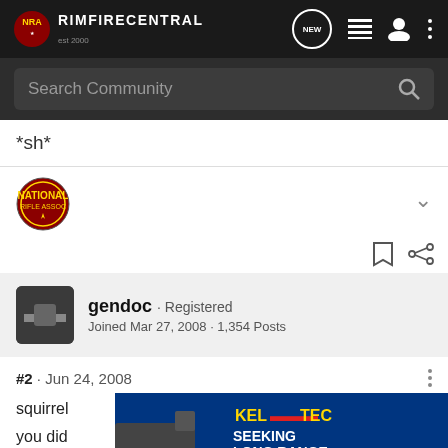RIMFIRECENTRAL
Search Community
*sh*
[Figure (logo): National Rifle Association circular badge/logo]
gendoc · Registered
Joined Mar 27, 2008 · 1,354 Posts
#2 · Jun 24, 2008
squirrel
you did
[Figure (other): Kel-Tec CP33 pistol advertisement banner: SEEKING LONG RANGE RELATIONSHIP - THE CP33® PISTOL]